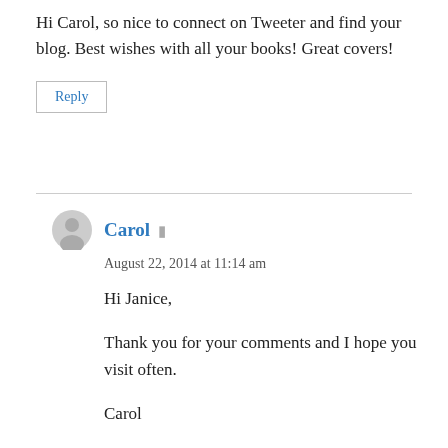Hi Carol, so nice to connect on Tweeter and find your blog. Best wishes with all your books! Great covers!
Reply
Carol
August 22, 2014 at 11:14 am
Hi Janice,
Thank you for your comments and I hope you visit often.
Carol